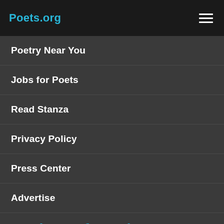Poets.org
Poetry Near You
Jobs for Poets
Read Stanza
Privacy Policy
Press Center
Advertise
academy of american poets
About Us
Programs
Prizes
First Book Award
James Laughlin Award